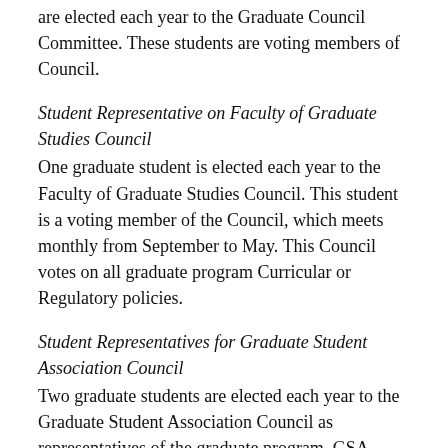are elected each year to the Graduate Council Committee. These students are voting members of Council.
Student Representative on Faculty of Graduate Studies Council
One graduate student is elected each year to the Faculty of Graduate Studies Council. This student is a voting member of the Council, which meets monthly from September to May. This Council votes on all graduate program Curricular or Regulatory policies.
Student Representatives for Graduate Student Association Council
Two graduate students are elected each year to the Graduate Student Association Council as representatives of the graduate program. GSA Council meet monthly during the fall/winter terms.